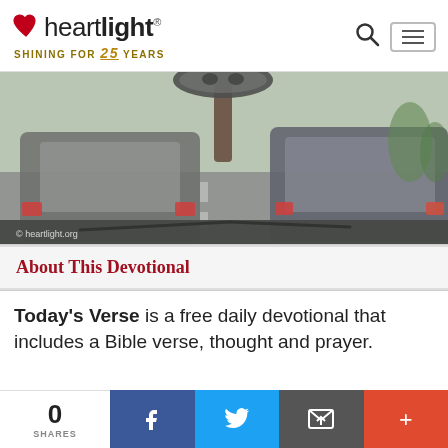[Figure (logo): Heartlight logo with heart icon, 'heartlight' text, and tagline 'SHINING FOR 25 YEARS']
[Figure (photo): View from inside a car looking through windshield at traffic, rearview mirror visible, blurred cars on road, daytime]
About This Devotional
Today's Verse is a free daily devotional that includes a Bible verse, thought and prayer.
0 SHARES | Facebook | Twitter | Email | More